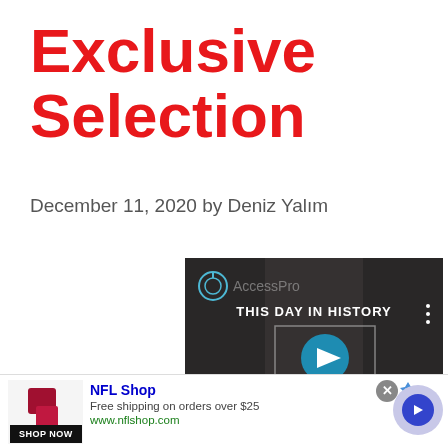Exclusive Selection
December 11, 2020 by Deniz Yalım
[Figure (screenshot): Video player showing 'THIS DAY IN HISTORY' with play button, mute icon, progress bar, and 'SEPTEMBER' label. Grayscale thumbnail with faces visible. AccessPro watermark partially visible.]
[Figure (other): NFL Shop advertisement. Shows red/maroon product image, NFL Shop title, 'Free shipping on orders over $25', 'www.nflshop.com', SHOP NOW button, close X button, ads badge, and blue arrow navigation circle.]